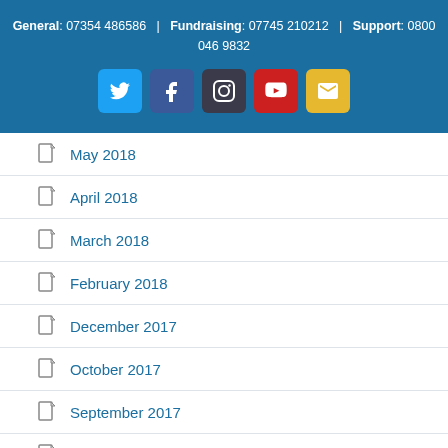General: 07354 486586 | Fundraising: 07745 210212 | Support: 0800 046 9832
[Figure (infographic): Social media icons: Twitter (blue), Facebook (dark blue), Instagram (dark), YouTube (red), Email (yellow)]
May 2018
April 2018
March 2018
February 2018
December 2017
October 2017
September 2017
August 2017
June 2017
May 2017